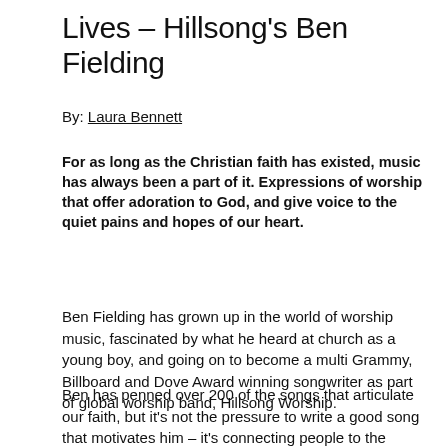Lives – Hillsong's Ben Fielding
By: Laura Bennett
For as long as the Christian faith has existed, music has always been a part of it. Expressions of worship that offer adoration to God, and give voice to the quiet pains and hopes of our heart.
Ben Fielding has grown up in the world of worship music, fascinated by what he heard at church as a young boy, and going on to become a multi Grammy, Billboard and Dove Award winning songwriter as part of global worship band, Hillsong Worship.
Ben has penned over 200 of the songs that articulate our faith, but it's not the pressure to write a good song that motivates him – it's connecting people to the heart of God...